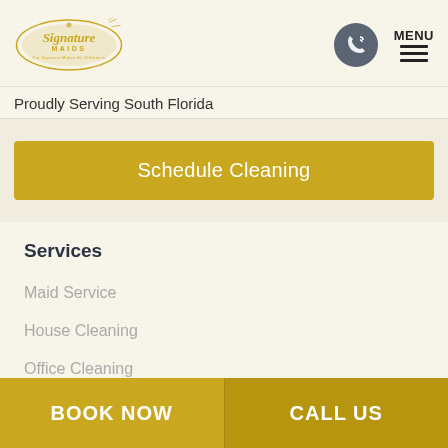[Figure (logo): Signature Maids logo — gold oval with stylized script text and tagline]
Proudly Serving South Florida
Schedule Cleaning
Services
Maid Service
House Cleaning
Office Cleaning
Condo Cleaning
BOOK NOW   CALL US